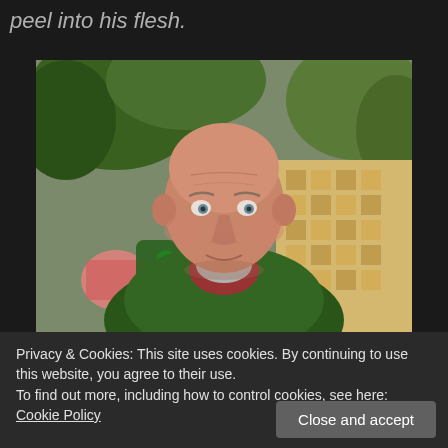peel into his flesh.
[Figure (photo): Portrait photo of a middle-aged man with a shaved head wearing a dark green hoodie and red shirt, sitting outdoors with green trees and a patterned background behind him.]
Privacy & Cookies: This site uses cookies. By continuing to use this website, you agree to their use.
To find out more, including how to control cookies, see here: Cookie Policy
Close and accept